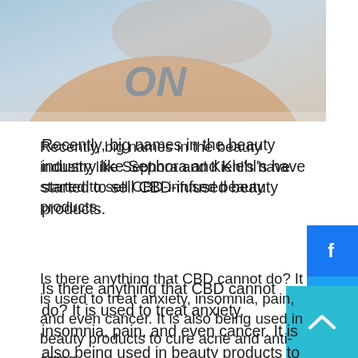[Figure (photo): Woman with arm raised, wearing white shirt, photographed outdoors against a sky background]
Recently, big names in the beauty industry like Sephora and Kiehl's have started to sell CBD-infused beauty products.
Is there anything that CBD cannot do? It is used to treat anxiety, insomnia, pain, and even cancer. It is also being used in beauty products to cure acne and anti-aging.
According to Statista, the CBD product market in the USA will be worth $25 billion by 2025. CBD has become a part of consumer products, from tinctures to capsules, chocolates, and skin